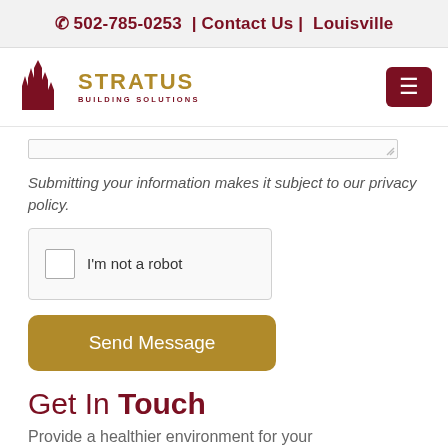📞 502-785-0253  |  Contact Us  |  Louisville
[Figure (logo): Stratus Building Solutions logo with building silhouette icon and gold/maroon text]
Submitting your information makes it subject to our privacy policy.
[Figure (other): reCAPTCHA widget with checkbox and 'I'm not a robot' label]
Send Message
Get In Touch
Provide a healthier environment for your